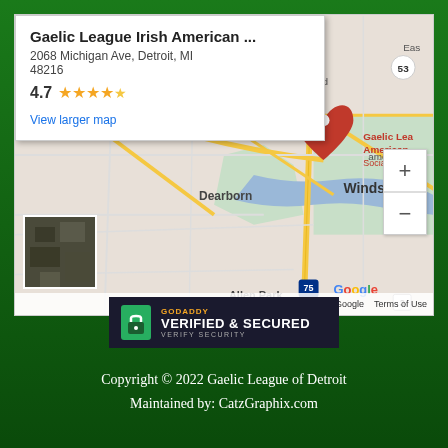[Figure (map): Google Maps showing Gaelic League Irish American Social Club at 2068 Michigan Ave, Detroit, MI 48216. Rating 4.7 stars. Map shows Detroit area including Dearborn, Windsor, Allen Park, Taylor, Southgate. Red location pin marks the venue. Zoom controls visible on right. Satellite thumbnail in bottom left.]
[Figure (logo): GoDaddy Verified & Secured badge with lock icon on dark background]
Copyright © 2022 Gaelic League of Detroit
Maintained by: CatzGraphix.com